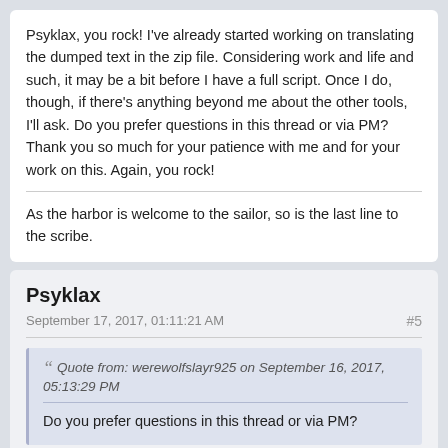Psyklax, you rock! I've already started working on translating the dumped text in the zip file. Considering work and life and such, it may be a bit before I have a full script. Once I do, though, if there's anything beyond me about the other tools, I'll ask. Do you prefer questions in this thread or via PM? Thank you so much for your patience with me and for your work on this. Again, you rock!
As the harbor is welcome to the sailor, so is the last line to the scribe.
Psyklax
September 17, 2017, 01:11:21 AM
#5
Quote from: werewolfslayr925 on September 16, 2017, 05:13:29 PM
Do you prefer questions in this thread or via PM?
I thought about that, but decided it's best to stay in the thread as others might learn something too. 🙂 Before you start